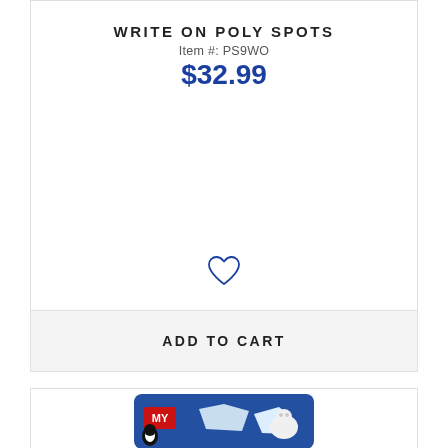WRITE ON POLY SPOTS
Item #: PS9WO
$32.99
[Figure (illustration): Heart/wishlist icon outline in blue]
ADD TO CART
[Figure (photo): Blue educational board game or book cover with penguin and polar bear figures and text MY on it, partially visible at bottom of page]